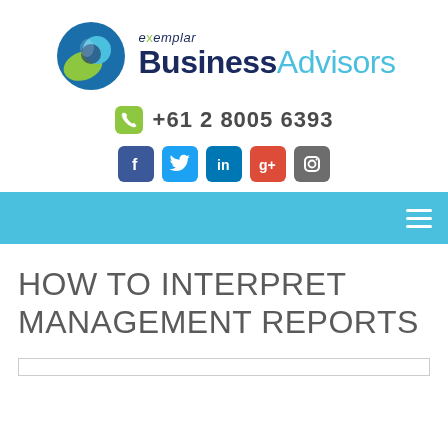[Figure (logo): Exemplar Business Advisors logo with circular blue/green icon and text 'exemplar BusinessAdvisors']
+61 2 8005 6393
[Figure (infographic): Social media icons: Facebook, Twitter, LinkedIn, Google+, Instagram]
Navigation bar with hamburger menu icon
HOW TO INTERPRET MANAGEMENT REPORTS